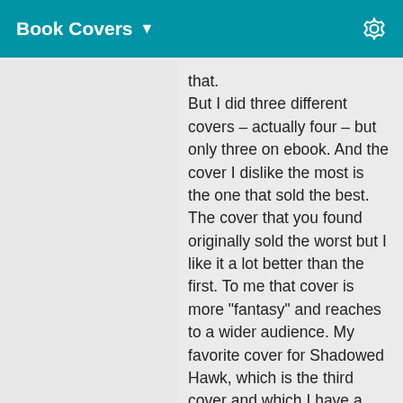Book Covers ▼
that.

But I did three different covers – actually four – but only three on ebook. And the cover I dislike the most is the one that sold the best. The cover that you found originally sold the worst but I like it a lot better than the first. To me that cover is more "fantasy" and reaches to a wider audience. My favorite cover for Shadowed Hawk, which is the third cover and which I have a thumbnail handy so attached here sold moderately but